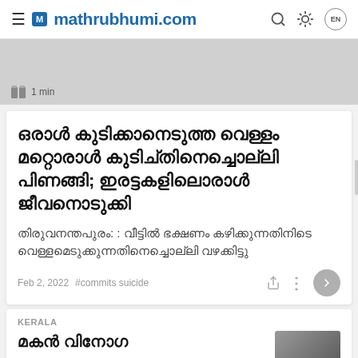mathrubhumi.com
[Figure (photo): Gray image placeholder with book icon and 1 min read time indicator]
ഒരാൾ കുടിക്കാനെടുത്ത വെള്ളം മറ്റൊരാൾ കുടിച്തിനെച്ചൊല്ലി പിണങ്ങി; ഇരട്ടകളിലൊരാൾ ജീവനൊടുക്കി
തിരുവനന്തപുരം: : വീട്ടിൽ ഭക്ഷണം കഴിക്കുന്നതിനിടെ വെള്ളമെടുക്കുന്നതിനെച്ചൊല്ലി വഴക്കിട്ടു
Feb 2, 2022  #commits suicide
KERALA
മകൻ വിനോഗ